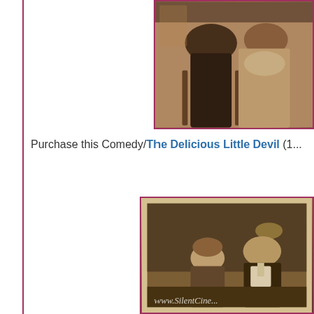[Figure (photo): Sepia-toned vintage still photo (top right) showing two figures in period costume, partially cropped, with a decorative frame border in dark red/maroon.]
Purchase this Comedy/The Delicious Little Devil (1...
[Figure (photo): Sepia-toned vintage still photo (bottom) showing two figures — a young woman looking up and a man in a white shirt — in an interior scene. Watermark reads 'www.SilentCine...' in italic white text.]